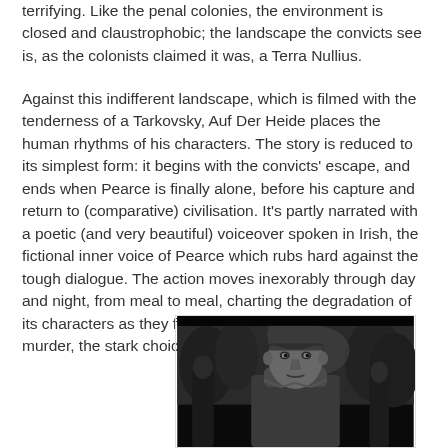terrifying. Like the penal colonies, the environment is closed and claustrophobic; the landscape the convicts see is, as the colonists claimed it was, a Terra Nullius.
Against this indifferent landscape, which is filmed with the tenderness of a Tarkovsky, Auf Der Heide places the human rhythms of his characters. The story is reduced to its simplest form: it begins with the convicts' escape, and ends when Pearce is finally alone, before his capture and return to (comparative) civilisation. It's partly narrated with a poetic (and very beautiful) voiceover spoken in Irish, the fictional inner voice of Pearce which rubs hard against the tough dialogue. The action moves inexorably through day and night, from meal to meal, charting the degradation of its characters as they face the realities of starvation and murder, the stark choice between living and dying.
[Figure (photo): Black and white film still showing a young man in the foreground looking intensely at the camera, with other figures visible behind him in a forest or outdoor setting.]